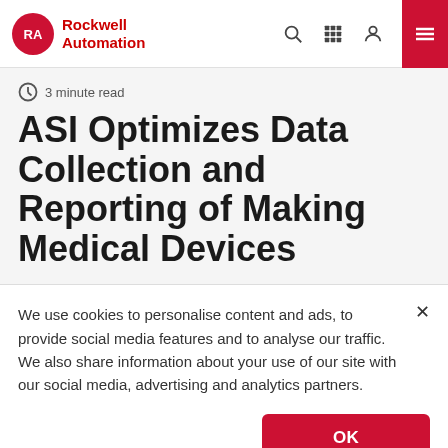Rockwell Automation
3 minute read
ASI Optimizes Data Collection and Reporting of Making Medical Devices
We use cookies to personalise content and ads, to provide social media features and to analyse our traffic. We also share information about your use of our site with our social media, advertising and analytics partners.
OK